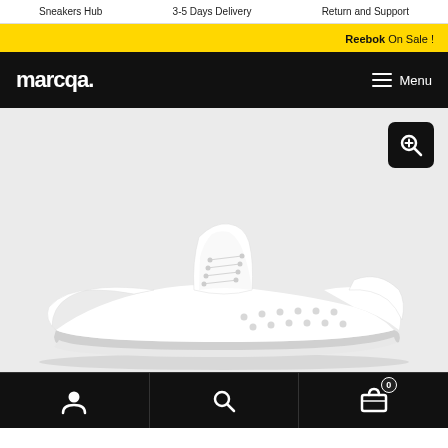Sneakers Hub   3-5 Days Delivery   Return and Support
Reebok On Sale!
marcqa.
Menu
[Figure (photo): White Adidas Stan Smith sneaker shown from the side on a light grey background, with a zoom/magnify button in top right corner]
User icon | Search icon | Cart icon (0)